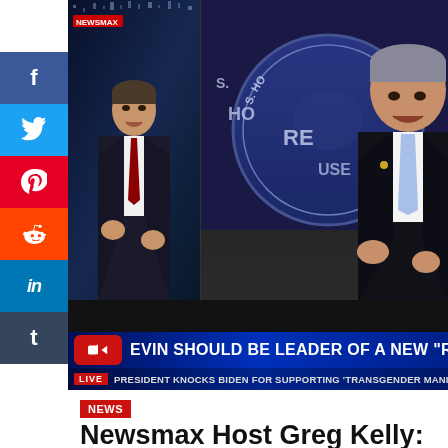[Figure (screenshot): TV screenshot showing two panels: left panel with a news anchor (man in suit with red tie) against a dark blue studio background, right panel with Kevin McCarthy (man in dark suit with light blue tie) speaking in front of US House of Representatives seal. Lower third ticker reads 'KEVIN SHOULD BE LEADER OF A NEW RINO P' and sub-ticker reads 'LIVE PRESIDENT KNOCKS BIDEN FOR SUPPORTING TRANSGENDER MANIA ...']
f (Facebook share button)
Twitter share button
Pinterest share button
Reddit share button
LinkedIn share button
Tumblr share button
NEWS
Newsmax Host Greg Kelly: “Kevin McCarthy Is a Swamp Snake and